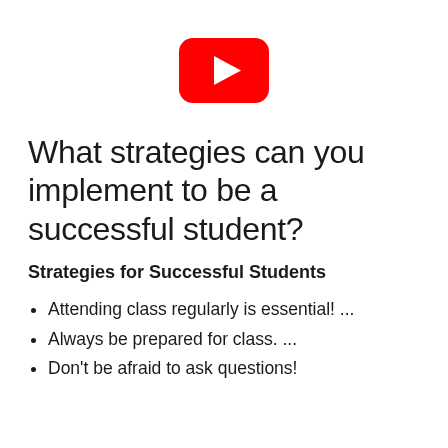[Figure (logo): YouTube logo — red rounded rectangle with white play triangle]
What strategies can you implement to be a successful student?
Strategies for Successful Students
Attending class regularly is essential! ...
Always be prepared for class. ...
Don't be afraid to ask questions!